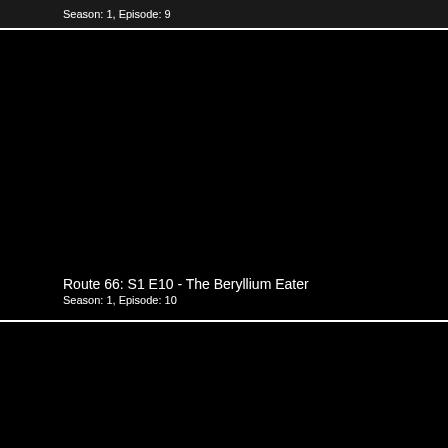Season: 1, Episode: 9
[Figure (screenshot): Black thumbnail image for Route 66 Season 1 Episode 10]
Route 66: S1 E10 - The Beryllium Eater
Season: 1, Episode: 10
[Figure (screenshot): Black thumbnail image for next episode]